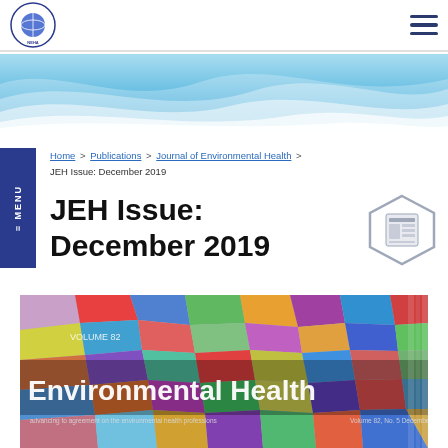National Environmental Health Association logo and navigation menu
[Figure (illustration): Blue wave banner decorative header]
Home > Publications > Journal of Environmental Health > JEH Issue: December 2019
JEH Issue: December 2019
[Figure (illustration): Journal of Environmental Health December 2019 cover showing colorful mosaic tiles with text Environmental Health]
Environmental Health — Volume 82, No. 5, December 2019